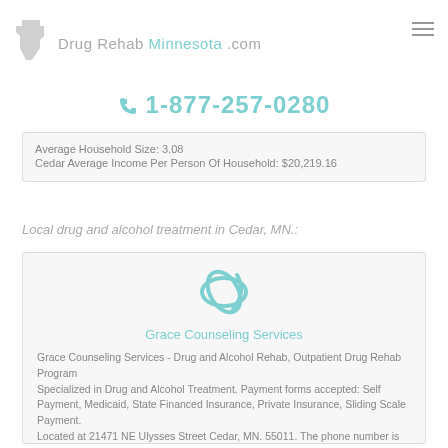Drug Rehab Minnesota .com
1-877-257-0280
Average Household Size: 3.08
Cedar Average Income Per Person Of Household: $20,219.16
Local drug and alcohol treatment in Cedar, MN.:
[Figure (logo): Grace Counseling Services logo - teal alpha/orbit symbol]
Grace Counseling Services
Grace Counseling Services - Drug and Alcohol Rehab, Outpatient Drug Rehab Program
Specialized in Drug and Alcohol Treatment. Payment forms accepted: Self Payment, Medicaid, State Financed Insurance, Private Insurance, Sliding Scale Payment.
Located at 21471 NE Ulysses Street Cedar, MN. 55011. The phone number is 763-413-8838.